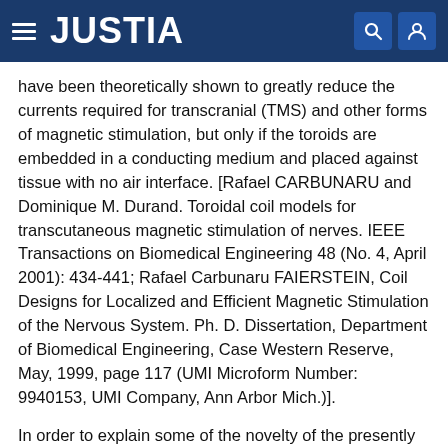JUSTIA
have been theoretically shown to greatly reduce the currents required for transcranial (TMS) and other forms of magnetic stimulation, but only if the toroids are embedded in a conducting medium and placed against tissue with no air interface. [Rafael CARBUNARU and Dominique M. Durand. Toroidal coil models for transcutaneous magnetic stimulation of nerves. IEEE Transactions on Biomedical Engineering 48 (No. 4, April 2001): 434-441; Rafael Carbunaru FAIERSTEIN, Coil Designs for Localized and Efficient Magnetic Stimulation of the Nervous System. Ph. D. Dissertation, Department of Biomedical Engineering, Case Western Reserve, May, 1999, page 117 (UMI Microform Number: 9940153, UMI Company, Ann Arbor Mich.)].
In order to explain some of the novelty of the presently disclosed invention as compared with the device described in the above-mentioned Carbunaru and